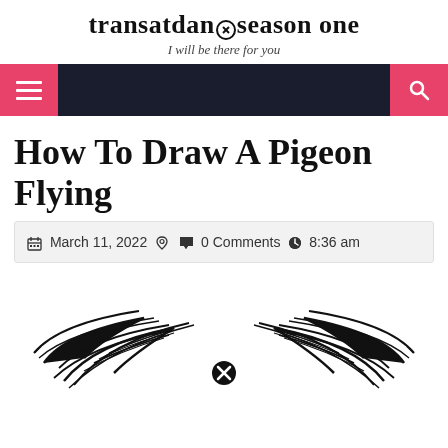transatdans season one — I will be there for you
[Figure (screenshot): Navigation bar with dark background, pink hamburger menu button on left, pink search button on right]
How To Draw A Pigeon Flying
March 11, 2022  0 Comments  8:36 am
[Figure (illustration): Line drawing of flying pigeon wings spread out, black on white, with a circled X symbol in the center bottom]